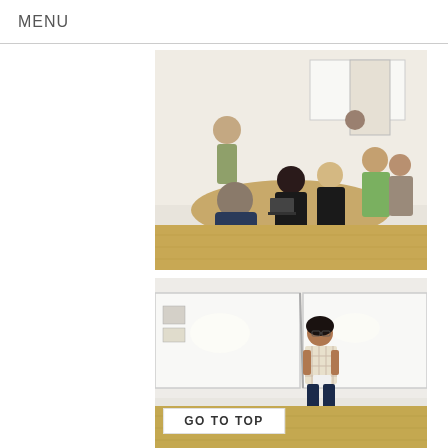MENU
[Figure (photo): Group of people seated around a conference/classroom table in discussion. A person stands at the front near a whiteboard. The room has wooden flooring and large windows.]
[Figure (photo): A woman with dark hair stands in front of a large whiteboard, holding papers and smiling. She appears to be presenting in a classroom or meeting room.]
GO TO TOP